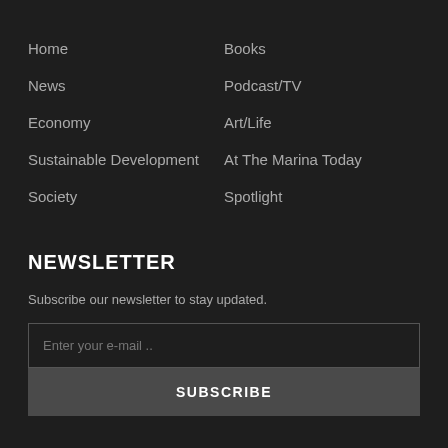Home
Books
News
Podcast/TV
Economy
Art/Life
Sustainable Development
At The Marina Today
Society
Spotlight
NEWSLETTER
Subscribe our newsletter to stay updated.
Enter your e-mail ..
SUBSCRIBE